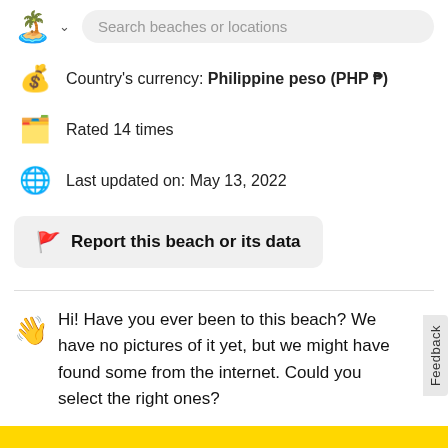Search beaches or locations
Country's currency: Philippine peso (PHP ₱)
Rated 14 times
Last updated on: May 13, 2022
🚩 Report this beach or its data
Hi! Have you ever been to this beach? We have no pictures of it yet, but we might have found some from the internet. Could you select the right ones?